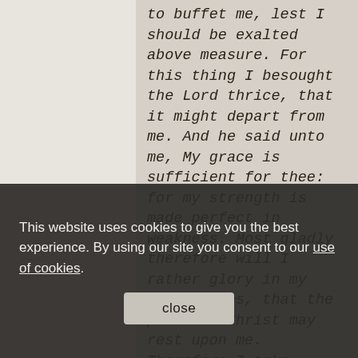to buffet me, lest I should be exalted above measure. For this thing I besought the Lord thrice, that it might depart from me. And he said unto me, My grace is sufficient for thee: for my strength is made perfect in weakness. Most gladly therefore will I rather glory in my infirmities, that the power of Christ may rest upon me. Therefore I take pleasure in infirmities, in reproaches, in necessities, in persecutions, in distresses for Christ's sake: for when I am weak, then am I strong. I am become a fool in glorying; ye have compelled me: for I ought to have been commended of you: for in nothing am I behind the very
This website uses cookies to give you the best experience. By using our site you consent to our use of cookies.